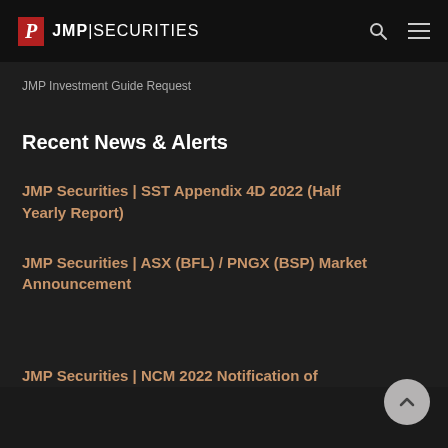JMP | SECURITIES
JMP Investment Guide Request
Recent News & Alerts
JMP Securities | SST Appendix 4D 2022 (Half Yearly Report)
JMP Securities | ASX (BFL) / PNGX (BSP) Market Announcement
JMP Securities | NCM 2022 Notification of